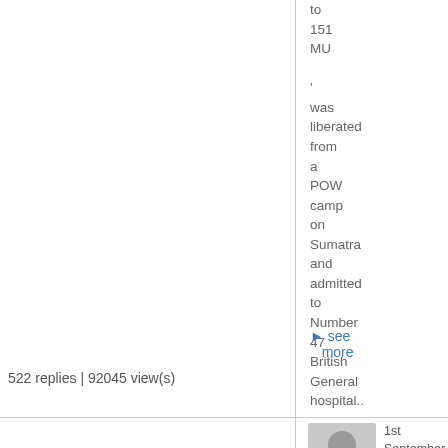to
151
MU

'
was
liberated
from
a
POW
camp
on
Sumatra
and
admitted
to
Number
47
British
General
hospital..
▶ see more
522 replies | 92045 view(s)
[Figure (photo): User avatar placeholder silhouette icon]
1st September 2022, 06:46
78SqnH
started a